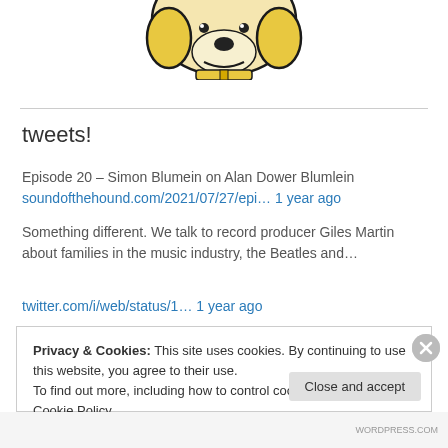[Figure (illustration): Partial view of a cartoon illustration of a hound dog character with yellow/golden highlights, shown from the neck up, cropped at the top of the page.]
tweets!
Episode 20 – Simon Blumein on Alan Dower Blumlein
soundofthehound.com/2021/07/27/epi… 1 year ago
Something different. We talk to record producer Giles Martin about families in the music industry, the Beatles and…
twitter.com/i/web/status/1… 1 year ago
Privacy & Cookies: This site uses cookies. By continuing to use this website, you agree to their use.
To find out more, including how to control cookies, see here: Cookie Policy